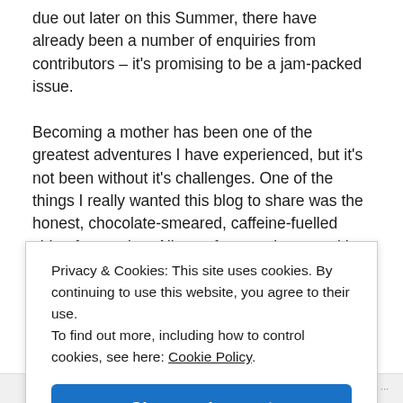due out later on this Summer, there have already been a number of enquiries from contributors – it's promising to be a jam-packed issue.

Becoming a mother has been one of the greatest adventures I have experienced, but it's not been without it's challenges. One of the things I really wanted this blog to share was the honest, chocolate-smeared, caffeine-fuelled side of parenting. All too often, you're met with conflicting advice, judgemental opinions and glossy images of other people
Privacy & Cookies: This site uses cookies. By continuing to use this website, you agree to their use.
To find out more, including how to control cookies, see here: Cookie Policy
Close and accept
Follow